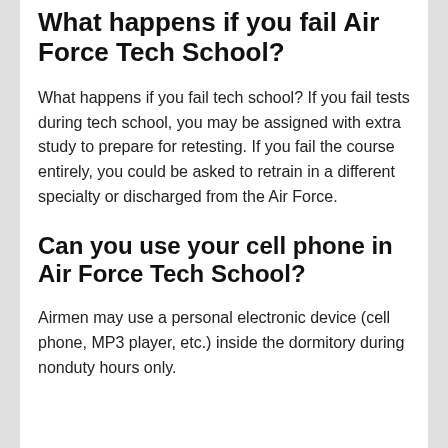What happens if you fail Air Force Tech School?
What happens if you fail tech school? If you fail tests during tech school, you may be assigned with extra study to prepare for retesting. If you fail the course entirely, you could be asked to retrain in a different specialty or discharged from the Air Force.
Can you use your cell phone in Air Force Tech School?
Airmen may use a personal electronic device (cell phone, MP3 player, etc.) inside the dormitory during nonduty hours only.